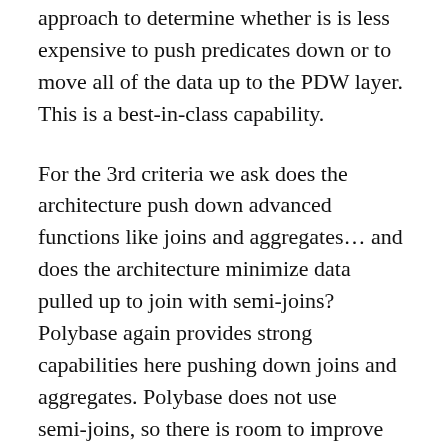...predicates. Polybase uses a cost-based approach to determine whether is is less expensive to push predicates down or to move all of the data up to the PDW layer. This is a best-in-class capability.
For the 3rd criteria we ask does the architecture push down advanced functions like joins and aggregates... and does the architecture minimize data pulled up to join with semi-joins? Polybase again provides strong capabilities here pushing down joins and aggregates. Polybase does not use semi-joins, so there is room to improve here... but Microsoft clearly has this capability in their roadmap.